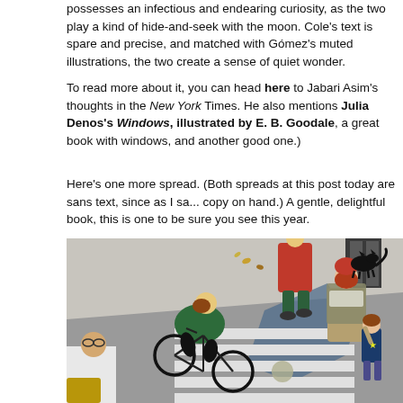possesses an infectious and endearing curiosity, as the two play a kind of hide-and-seek with the moon. Cole's text is spare and precise, and matched with Gómez's muted illustrations, the two create a sense of quiet wonder.
To read more about it, you can head here to Jabari Asim's thoughts in the New York Times. He also mentions Julia Denos's Windows, illustrated by E. B. Goodale, a great book with windows, and another good one.)
Here's one more spread. (Both spreads at this post today are sans text, since as I said, I only have a copy on hand.) A gentle, delightful book, this is one to be sure you see this year.
[Figure (illustration): Illustrated street scene viewed from above showing a cyclist in a green top riding a bicycle across a crosswalk, a person in a red hat and plaid jacket walking with a small child, a person in a red jacket walking away, a black cat, a person in a houndstooth pattern at the bottom left, and blue shadow shapes on a gray pavement.]